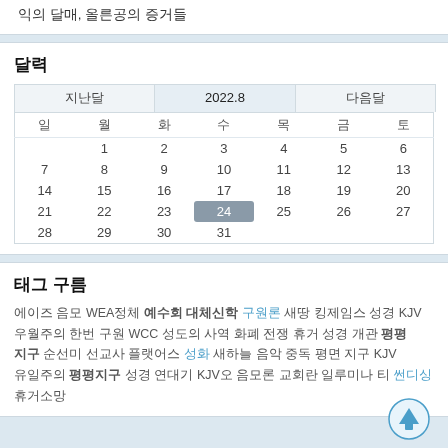익의 달매, 올른공의 증거들
달력
| 지난달 | 2022.8 | 다음달 |
| --- | --- | --- |
| 일 | 월 | 화 | 수 | 목 | 금 | 토 |
|  | 1 | 2 | 3 | 4 | 5 | 6 |
| 7 | 8 | 9 | 10 | 11 | 12 | 13 |
| 14 | 15 | 16 | 17 | 18 | 19 | 20 |
| 21 | 22 | 23 | 24 | 25 | 26 | 27 |
| 28 | 29 | 30 | 31 |  |  |  |
태그 구름
에이즈 음모 WEA정체 예수회 대체신학 구원론 새땅 킹제임스 성경 KJV 우월주의 한번 구원 WCC 성도의 사역 화폐 전쟁 휴거 성경 개관 평평 지구 순선미 선교사 플랫어스 성화 새하늘 음악 중독 평면 지구 KJV 유일주의 평평지구 성경 연대기 KJV오 음모론 교회란 일루미나티 썬디싱 휴거소망